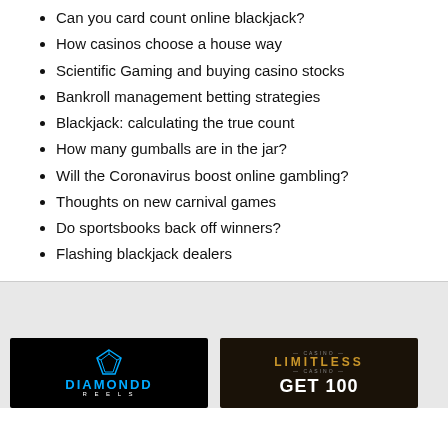Can you card count online blackjack?
How casinos choose a house way
Scientific Gaming and buying casino stocks
Bankroll management betting strategies
Blackjack: calculating the true count
How many gumballs are in the jar?
Will the Coronavirus boost online gambling?
Thoughts on new carnival games
Do sportsbooks back off winners?
Flashing blackjack dealers
[Figure (photo): Diamond Reels online casino logo on black background]
[Figure (photo): Limitless Casino advertisement with 'GET 100' text on dark background]